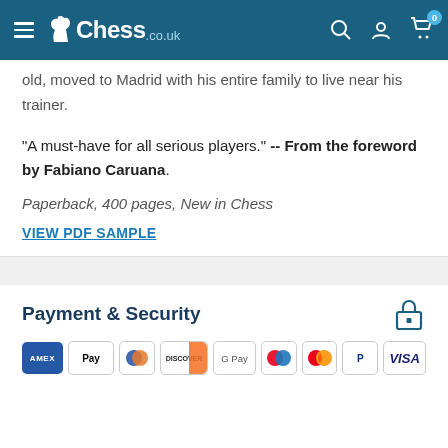Chess.co.uk navigation header
old, moved to Madrid with his entire family to live near his trainer.
"A must-have for all serious players." -- From the foreword by Fabiano Caruana.
Paperback, 400 pages, New in Chess
VIEW PDF SAMPLE
Payment & Security
[Figure (logo): Payment method logos: American Express, Apple Pay, Diners Club, Discover, Google Pay, Maestro, Mastercard, PayPal, Visa]